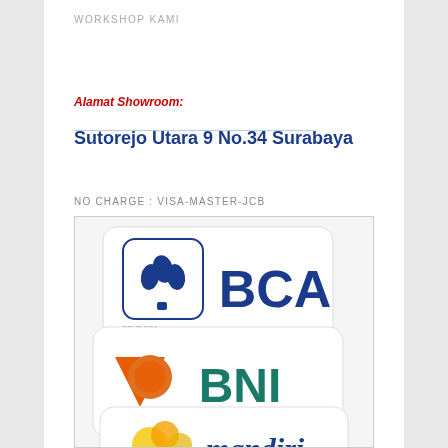WORKSHOP KAMI
Alamat Showroom:
Sutorejo Utara 9 No.34 Surabaya
NO CHARGE : VISA-MASTER-JCB
[Figure (photo): Bank logos: BCA, BNI, and Mandiri bank cards/logos stacked on top of each other]